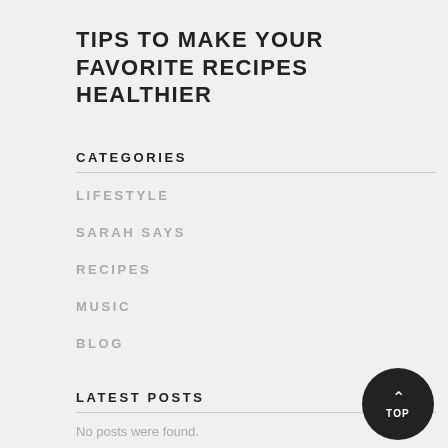TIPS TO MAKE YOUR FAVORITE RECIPES HEALTHIER
CATEGORIES
LIFESTYLE
SARAH SAYS
RECIPES
MUSIC
BLOG
LATEST POSTS
No posts were found.